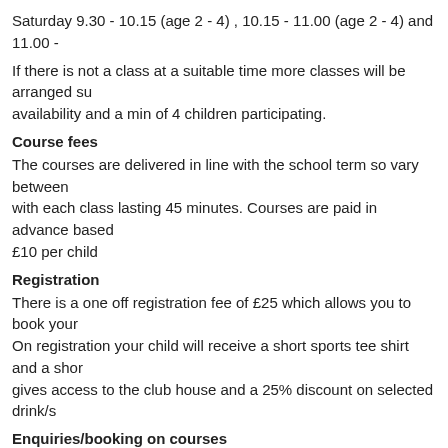Saturday 9.30 - 10.15 (age 2 - 4) , 10.15 - 11.00 (age 2 - 4) and 11.00 -
If there is not a class at a suitable time more classes will be arranged subject to availability and a min of 4 children participating.
Course fees
The courses are delivered in line with the school term so vary between with each class lasting 45 minutes. Courses are paid in advance based £10 per child
Registration
There is a one off registration fee of £25 which allows you to book your On registration your child will receive a short sports tee shirt and a shor gives access to the club house and a 25% discount on selected drink/s
Enquiries/booking on courses
To book on a course or make an enquiry please send an email to shorts and include the childs name and date of birth.
Contact:
Barbara Snapes